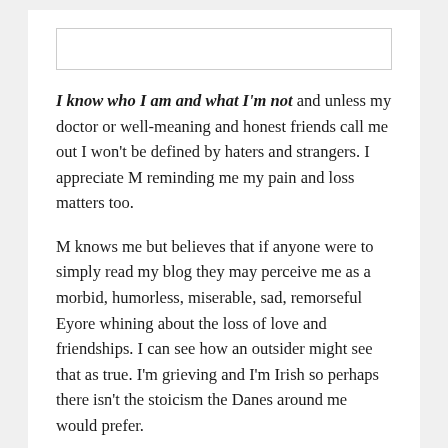[Figure (other): Empty white box at top of page]
I know who I am and what I'm not and unless my doctor or well-meaning and honest friends call me out I won't be defined by haters and strangers. I appreciate M reminding me my pain and loss matters too.
M knows me but believes that if anyone were to simply read my blog they may perceive me as a morbid, humorless, miserable, sad, remorseful Eyore whining about the loss of love and friendships. I can see how an outsider might see that as true. I'm grieving and I'm Irish so perhaps there isn't the stoicism the Danes around me would prefer.
M asked if I thought of myself as a bad man. I